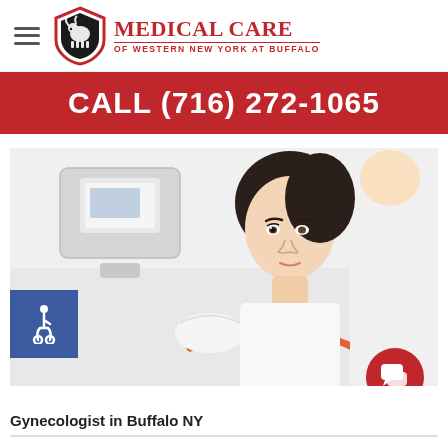[Figure (logo): Medical Care of Western New York at Buffalo logo with shield icon featuring a buffalo silhouette in black and red]
CALL (716) 272-1065
[Figure (photo): A woman patient undergoing a medical procedure, possibly a mammogram, attended by a healthcare professional in white coat. An accessibility wheelchair icon badge is visible in the lower left, and a red circular chat icon badge is in the lower right.]
Gynecologist in Buffalo NY